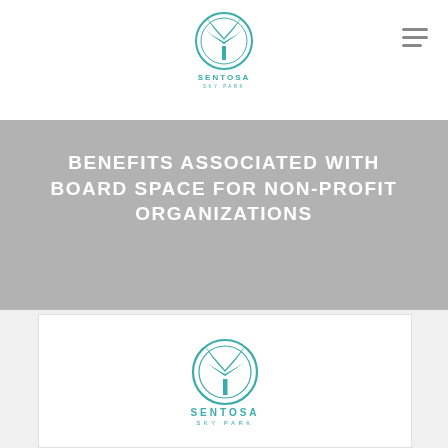[Figure (logo): Sentosa Sky Park logo in teal — circular palm tree emblem above the text SENTOSA SKY PARK]
BENEFITS ASSOCIATED WITH BOARD SPACE FOR NON-PROFIT ORGANIZATIONS
[Figure (logo): Sentosa Sky Park logo repeated — large teal circular palm tree emblem with SENTOSA SKY PARK text below]